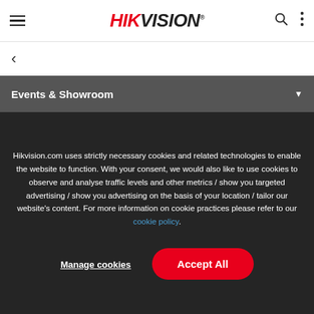HIKVISION
Events & Showroom
Hikvision.com uses strictly necessary cookies and related technologies to enable the website to function. With your consent, we would also like to use cookies to observe and analyse traffic levels and other metrics / show you targeted advertising / show you advertising on the basis of your location / tailor our website's content. For more information on cookie practices please refer to our cookie policy.
Manage cookies
Accept All